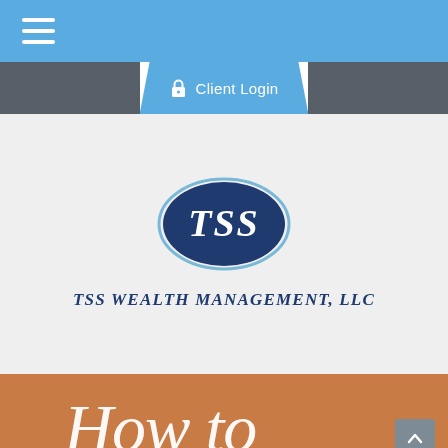[Figure (screenshot): Navigation bar with hamburger menu icon (three horizontal white lines) on a blue background]
[Figure (screenshot): Client Login bar with lock icon and white text on blue/gray background]
[Figure (logo): TSS Wealth Management LLC logo - oval shape with TSS letters in white on dark blue background]
TSS WEALTH MANAGEMENT, LLC
[Figure (illustration): Orange/terracotta banner section with script cursive text reading 'How to' in white]